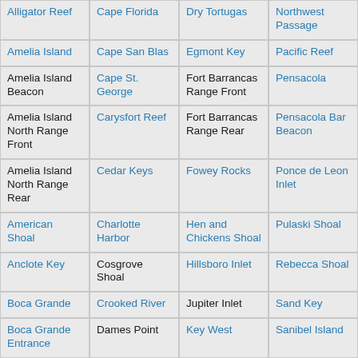| Alligator Reef | Cape Florida | Dry Tortugas | Northwest Passage |
| Amelia Island | Cape San Blas | Egmont Key | Pacific Reef |
| Amelia Island Beacon | Cape St. George | Fort Barrancas Range Front | Pensacola |
| Amelia Island North Range Front | Carysfort Reef | Fort Barrancas Range Rear | Pensacola Bar Beacon |
| Amelia Island North Range Rear | Cedar Keys | Fowey Rocks | Ponce de Leon Inlet |
| American Shoal | Charlotte Harbor | Hen and Chickens Shoal | Pulaski Shoal |
| Anclote Key | Cosgrove Shoal | Hillsboro Inlet | Rebecca Shoal |
| Boca Grande | Crooked River | Jupiter Inlet | Sand Key |
| Boca Grande Entrance | Dames Point | Key West | Sanibel Island |